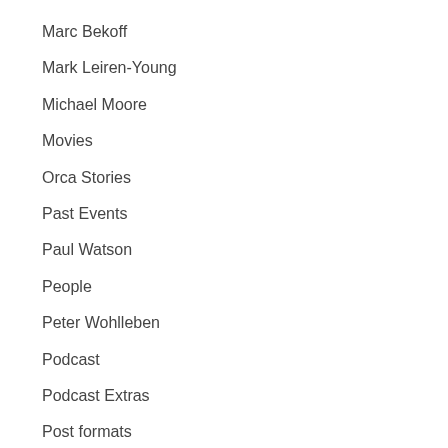Marc Bekoff
Mark Leiren-Young
Michael Moore
Movies
Orca Stories
Past Events
Paul Watson
People
Peter Wohlleben
Podcast
Podcast Extras
Post formats
Quote
Rhapsody
Rob Stewart